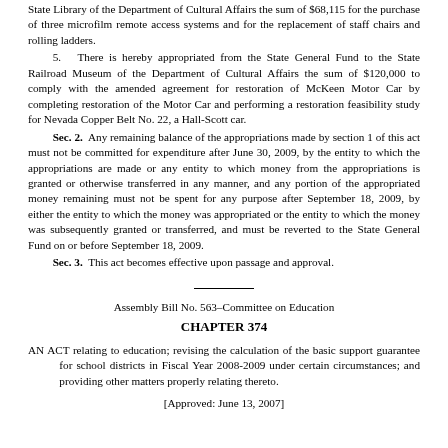State Library of the Department of Cultural Affairs the sum of $68,115 for the purchase of three microfilm remote access systems and for the replacement of staff chairs and rolling ladders.
5. There is hereby appropriated from the State General Fund to the State Railroad Museum of the Department of Cultural Affairs the sum of $120,000 to comply with the amended agreement for restoration of McKeen Motor Car by completing restoration of the Motor Car and performing a restoration feasibility study for Nevada Copper Belt No. 22, a Hall-Scott car.
Sec. 2. Any remaining balance of the appropriations made by section 1 of this act must not be committed for expenditure after June 30, 2009, by the entity to which the appropriations are made or any entity to which money from the appropriations is granted or otherwise transferred in any manner, and any portion of the appropriated money remaining must not be spent for any purpose after September 18, 2009, by either the entity to which the money was appropriated or the entity to which the money was subsequently granted or transferred, and must be reverted to the State General Fund on or before September 18, 2009.
Sec. 3. This act becomes effective upon passage and approval.
Assembly Bill No. 563–Committee on Education
CHAPTER 374
AN ACT relating to education; revising the calculation of the basic support guarantee for school districts in Fiscal Year 2008-2009 under certain circumstances; and providing other matters properly relating thereto.
[Approved: June 13, 2007]